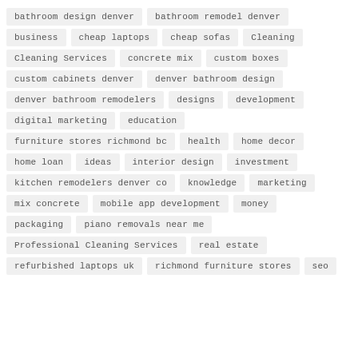bathroom design denver
bathroom remodel denver
business
cheap laptops
cheap sofas
Cleaning
Cleaning Services
concrete mix
custom boxes
custom cabinets denver
denver bathroom design
denver bathroom remodelers
designs
development
digital marketing
education
furniture stores richmond bc
health
home decor
home loan
ideas
interior design
investment
kitchen remodelers denver co
knowledge
marketing
mix concrete
mobile app development
money
packaging
piano removals near me
Professional Cleaning Services
real estate
refurbished laptops uk
richmond furniture stores
seo